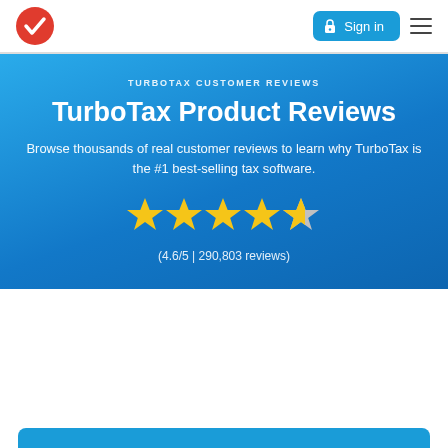[Figure (logo): TurboTax red circle logo with white checkmark]
Sign in
TURBOTAX CUSTOMER REVIEWS
TurboTax Product Reviews
Browse thousands of real customer reviews to learn why TurboTax is the #1 best-selling tax software.
[Figure (other): 4.6 out of 5 stars rating display — 4 full yellow stars and 1 partial yellow/grey star]
(4.6/5 | 290,803 reviews)